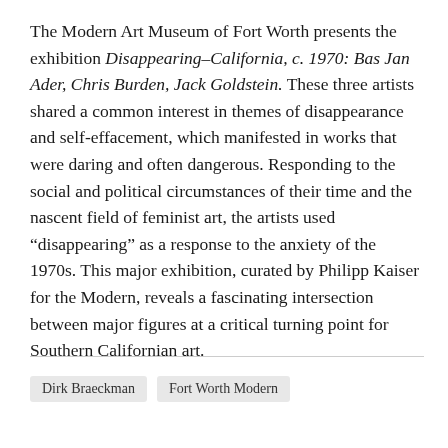The Modern Art Museum of Fort Worth presents the exhibition Disappearing–California, c. 1970: Bas Jan Ader, Chris Burden, Jack Goldstein. These three artists shared a common interest in themes of disappearance and self-effacement, which manifested in works that were daring and often dangerous. Responding to the social and political circumstances of their time and the nascent field of feminist art, the artists used “disappearing” as a response to the anxiety of the 1970s. This major exhibition, curated by Philipp Kaiser for the Modern, reveals a fascinating intersection between major figures at a critical turning point for Southern Californian art.
Dirk Braeckman
Fort Worth Modern